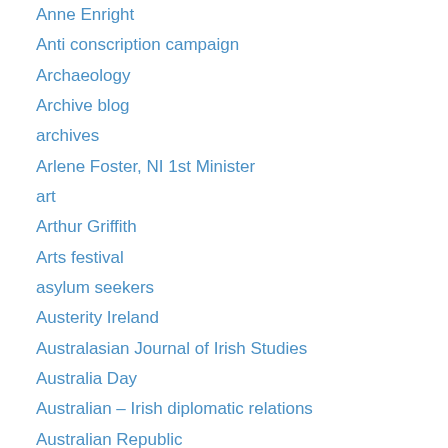Anne Enright
Anti conscription campaign
Archaeology
Archive blog
archives
Arlene Foster, NI 1st Minister
art
Arthur Griffith
Arts festival
asylum seekers
Austerity Ireland
Australasian Journal of Irish Studies
Australia Day
Australian – Irish diplomatic relations
Australian Republic
Australian-Irish history
Banjo Patterson
BBC
Beckett
Beechworth